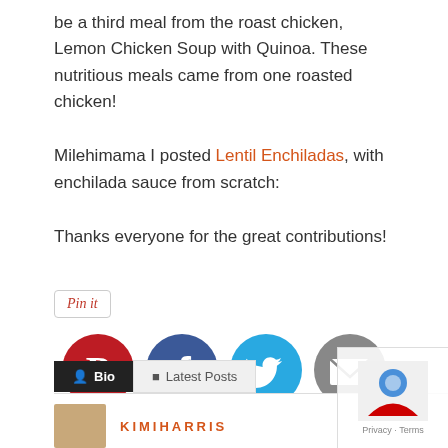be a third meal from the roast chicken, Lemon Chicken Soup with Quinoa. These nutritious meals came from one roasted chicken!
Milehimama I posted Lentil Enchiladas, with enchilada sauce from scratch:
Thanks everyone for the great contributions!
[Figure (other): Pin it button with red italic text and border]
[Figure (other): Social sharing icons: Pinterest (red circle with P), Facebook (dark blue circle with f), Twitter (cyan circle with bird), Email (gray circle with envelope)]
[Figure (other): Bio/Latest Posts tab bar with Bio tab selected in black and Latest Posts tab in gray, followed by a content area showing KIMIHARRIS name in orange with a thumbnail photo]